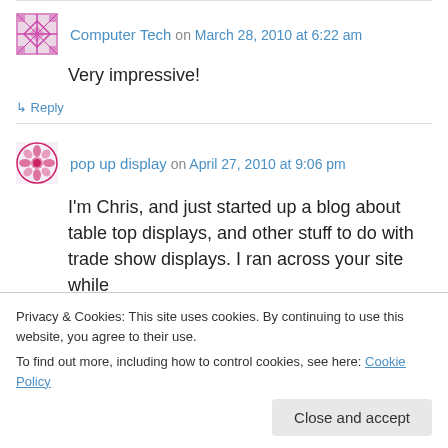Computer Tech on March 28, 2010 at 6:22 am
Very impressive!
↳ Reply
pop up display on April 27, 2010 at 9:06 pm
I'm Chris, and just started up a blog about table top displays, and other stuff to do with trade show displays. I ran across your site while
Privacy & Cookies: This site uses cookies. By continuing to use this website, you agree to their use. To find out more, including how to control cookies, see here: Cookie Policy
Close and accept